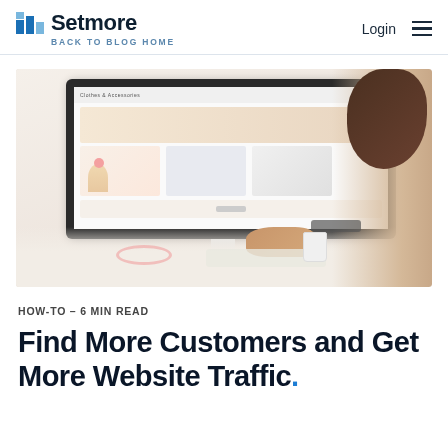Setmore — BACK TO BLOG HOME — Login
[Figure (photo): Woman sitting at a white desk looking at a large iMac monitor displaying a fashion/accessories website called 'Clothes & Accessories'. Pink sunglasses, jewelry, and a white cup are visible on the desk.]
HOW-TO — 6 MIN READ
Find More Customers and Get More Website Traffic.